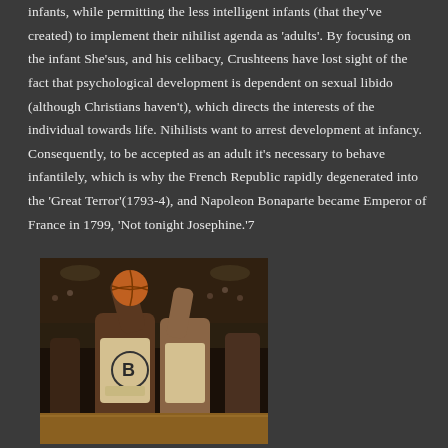infants, while permitting the less intelligent infants (that they've created) to implement their nihilist agenda as 'adults'. By focusing on the infant She'sus, and his celibacy, Crushteens have lost sight of the fact that psychological development is dependent on sexual libido (although Christians haven't), which directs the interests of the individual towards life. Nihilists want to arrest development at infancy. Consequently, to be accepted as an adult it's necessary to behave infantilely, which is why the French Republic rapidly degenerated into the 'Great Terror'(1793-4), and Napoleon Bonaparte became Emperor of France in 1799, 'Not tonight Josephine.'7
[Figure (photo): A basketball game photograph showing a player wearing a jersey with letter B attempting to score, with a scoreboard showing 3:25 in the background.]